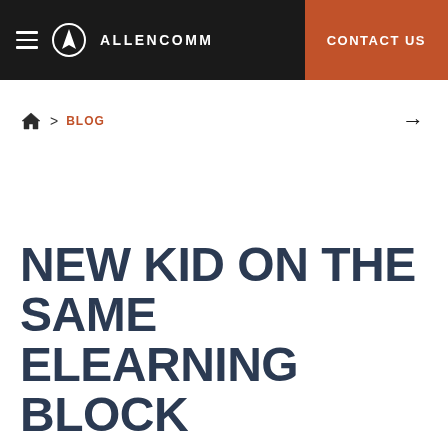AllenComm — CONTACT US
🏠 > BLOG →
NEW KID ON THE SAME ELEARNING BLOCK